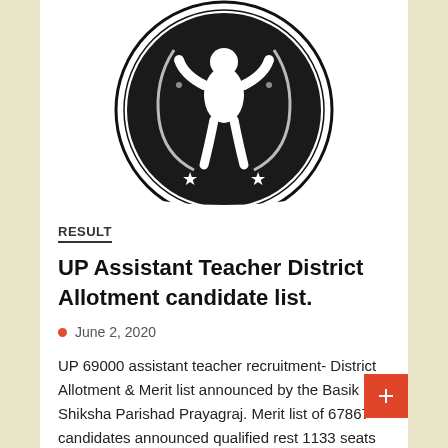[Figure (logo): Circular black and white emblem/seal with a figure in the center and two stars at the bottom, double border ring]
RESULT
UP Assistant Teacher District Allotment candidate list.
June 2, 2020
UP 69000 assistant teacher recruitment- District Allotment & Merit list announced by the Basik Shiksha Parishad Prayagraj. Merit list of 67867 candidates announced qualified rest 1133 seats are reserved for ...